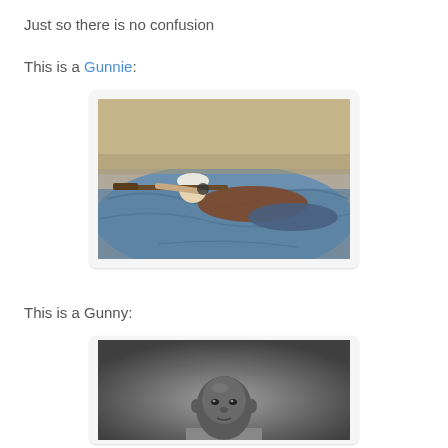Just so there is no confusion
This is a Gunnie:
[Figure (photo): Person lying prone on a blue tarp outdoors, aiming a rifle, wearing a brown shirt and white cap]
This is a Gunny:
[Figure (photo): Black and white portrait photo of a person looking at camera]